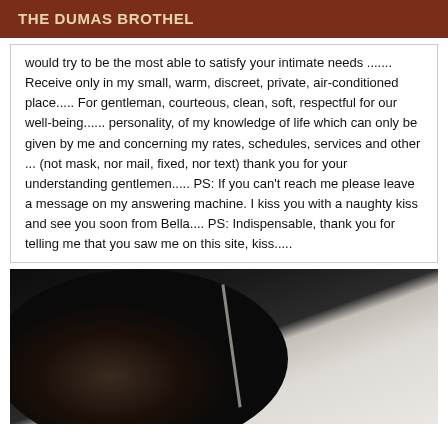THE DUMAS BROTHEL
would try to be the most able to satisfy your intimate needs ....... Receive only in my small, warm, discreet, private, air-conditioned place..... For gentleman, courteous, clean, soft, respectful for our well-being...... personality, of my knowledge of life which can only be given by me and concerning my rates, schedules, services and other ... (not mask, nor mail, fixed, nor text) thank you for your understanding gentlemen..... PS: If you can't reach me please leave a message on my answering machine. I kiss you with a naughty kiss and see you soon from Bella.... PS: Indispensable, thank you for telling me that you saw me on this site, kiss.....
[Figure (photo): A dark, dimly lit photograph showing a dark object on the left against a lighter background with what appears to be a wall or surface.]